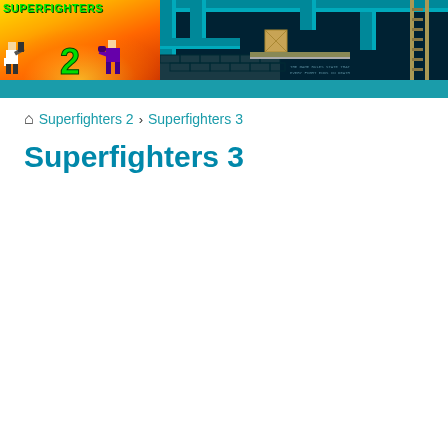[Figure (screenshot): Superfighters 2 game banner showing the game logo on orange/fire background on the left with pixel character sprites, and a teal/dark game level screenshot on the right showing pipes, ladders, and a crate]
🏠 Superfighters 2 › Superfighters 3
Superfighters 3